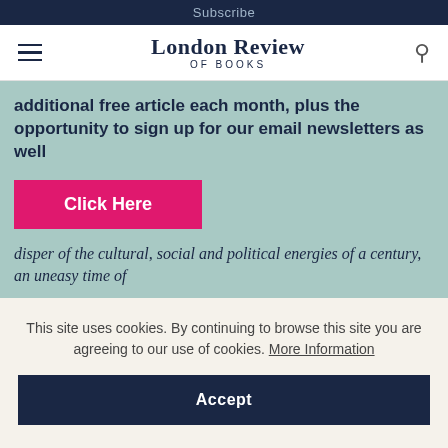Subscribe
[Figure (logo): London Review of Books logo with hamburger menu and search icon]
additional free article each month, plus the opportunity to sign up for our email newsletters as well
Click Here
disper of the cultural, social and political energies of a century, an uneasy time of
This site uses cookies. By continuing to browse this site you are agreeing to our use of cookies. More Information
Accept